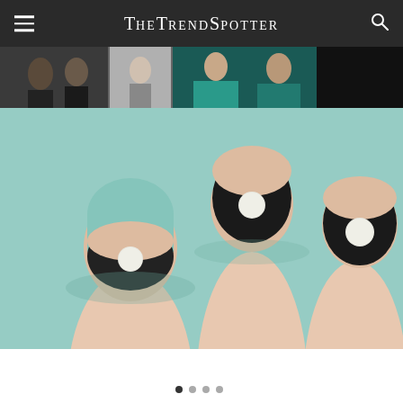TheTrendSpotter
[Figure (photo): Website header with hamburger menu icon, TheTrendSpotter logo in white serif text on dark background, and search icon]
[Figure (photo): Horizontal image slider strip showing partial photos of people at an event, with teal/dark backgrounds]
[Figure (photo): Close-up photo of fingers with yin-yang nail art design: black polish with white dot on a nude/teal background]
[Figure (photo): Navigation dots or pagination indicator at bottom of page]